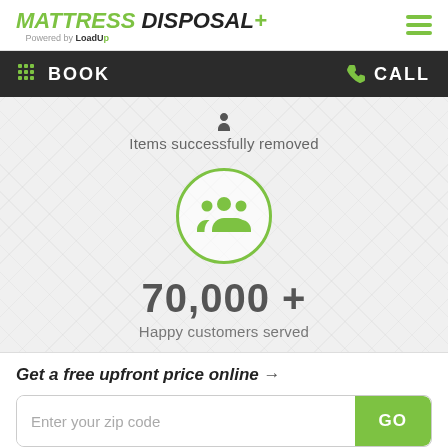[Figure (logo): Mattress Disposal Plus logo powered by LoadUp, with hamburger menu icon]
BOOK   CALL
Items successfully removed
[Figure (illustration): Green circle icon with group of people silhouettes]
70,000 +
Happy customers served
Get a free upfront price online →
Enter your zip code   GO